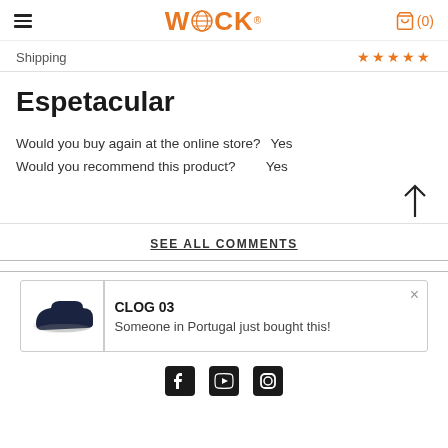WOCK (0)
Shipping ★★★★★
Espetacular
Would you buy again at the online store?  Yes
Would you recommend this product?  Yes
SEE ALL COMMENTS
[Figure (other): Popup card showing CLOG 03 product with image of a dark clog shoe and text 'Someone in Portugal just bought this!']
[Figure (other): Social media icons row: Facebook, YouTube, Instagram]